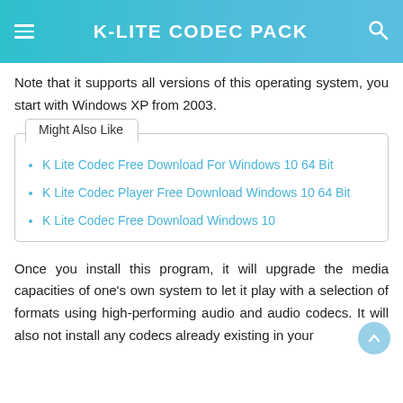K-LITE CODEC PACK
Note that it supports all versions of this operating system, you start with Windows XP from 2003.
Might Also Like
K Lite Codec Free Download For Windows 10 64 Bit
K Lite Codec Player Free Download Windows 10 64 Bit
K Lite Codec Free Download Windows 10
Once you install this program, it will upgrade the media capacities of one's own system to let it play with a selection of formats using high-performing audio and audio codecs. It will also not install any codecs already existing in your